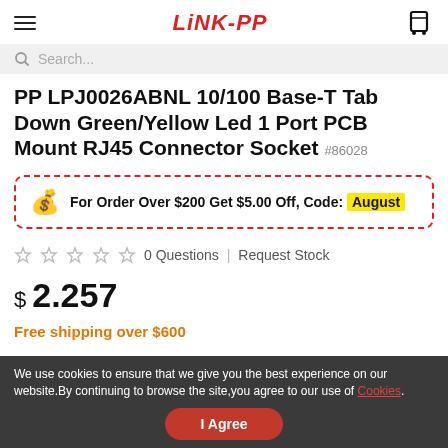LiNK-PP
Search...
PP LPJ0026ABNL 10/100 Base-T Tab Down Green/Yellow Led 1 Port PCB Mount RJ45 Connector Socket #86028
For Order Over $200 Get $5.00 Off, Code: August
0 Questions  |  Request Stock
$ 2.257
Free shipping over $600
We use cookies to ensure that we give you the best experience on our website.By continuing to browse the site,you agree to our use of Cookies.
I Agree